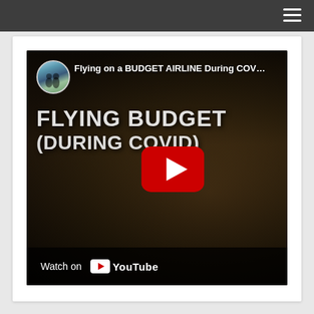Navigation menu header bar
[Figure (screenshot): YouTube video thumbnail embed showing 'Flying on a BUDGET AIRLINE During COVID' video. The thumbnail shows two people wearing face masks in what appears to an airport. The video has a large white text overlay reading 'FLYING BUDGET (DURING COVID)' and shows a red YouTube play button in the center. The bottom bar shows 'Watch on YouTube' branding. The video channel icon shows a couple outdoors.]